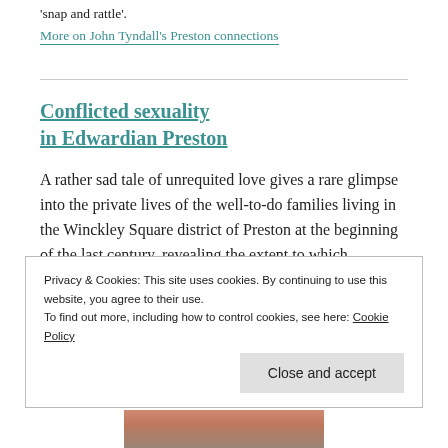'snap and rattle'.
More on John Tyndall's Preston connections
Conflicted sexuality in Edwardian Preston
A rather sad tale of unrequited love gives a rare glimpse into the private lives of the well-to-do families living in the Winckley Square district of Preston at the beginning of the last century, revealing the extent to which homosexuality was viewed as unacceptable at that time.
Privacy & Cookies: This site uses cookies. By continuing to use this website, you agree to their use. To find out more, including how to control cookies, see here: Cookie Policy
Close and accept